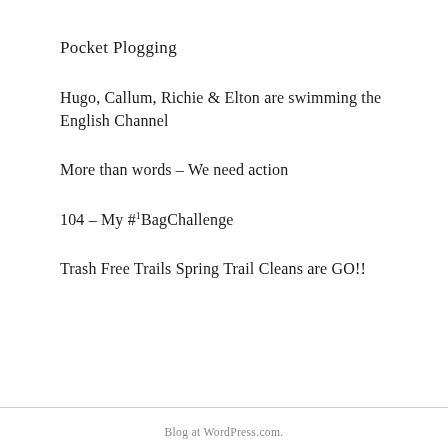Pocket Plogging
Hugo, Callum, Richie & Elton are swimming the English Channel
More than words – We need action
104 – My #1BagChallenge
Trash Free Trails Spring Trail Cleans are GO!!
Blog at WordPress.com.